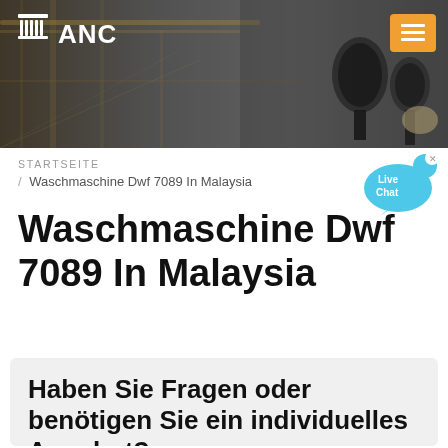[Figure (photo): Header banner with ANC logo and navigation. Background shows industrial/factory scene on the left and microphones on the right. Orange menu button in top-right corner.]
ANC
STARTSEITE / Waschmaschine Dwf 7089 In Malaysia
Waschmaschine Dwf 7089 In Malaysia
Haben Sie Fragen oder benötigen Sie ein individuelles Angebot?